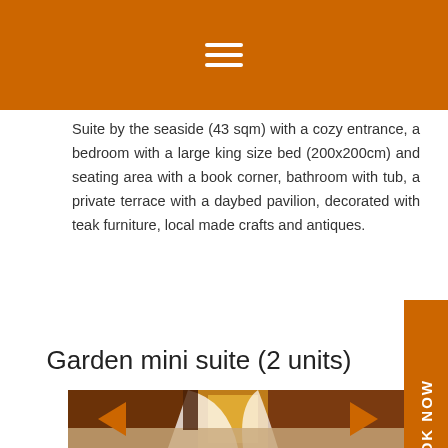≡
Suite by the seaside (43 sqm) with a cozy entrance, a bedroom with a large king size bed (200x200cm) and seating area with a book corner, bathroom with tub, a private terrace with a daybed pavilion, decorated with teak furniture, local made crafts and antiques.
Garden mini suite (2 units)
[Figure (photo): Interior room photo showing a bed with white mosquito net canopy, wooden walls, and a window with orange/yellow light, typical of a garden suite accommodation.]